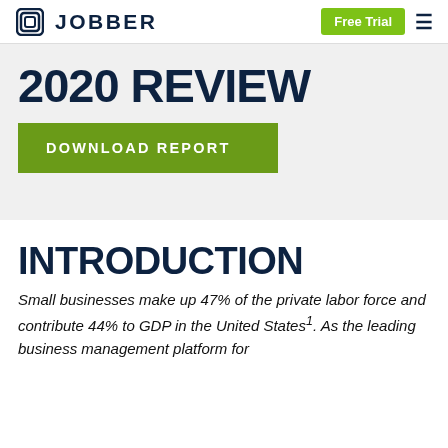JOBBER | Free Trial
2020 REVIEW
DOWNLOAD REPORT
INTRODUCTION
Small businesses make up 47% of the private labor force and contribute 44% to GDP in the United States1. As the leading business management platform for